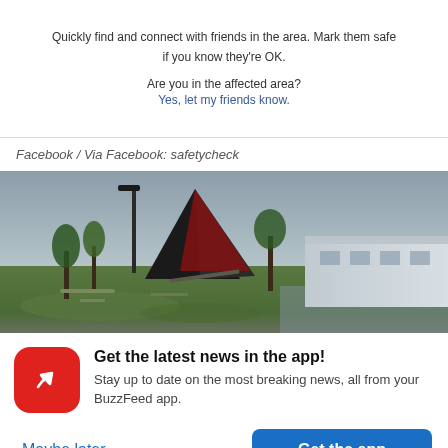[Figure (screenshot): Facebook Safety Check UI showing partial text: 'Quickly find and connect with friends in the area. Mark them safe if you know they're OK.' and 'Are you in the affected area? Yes, let my friends know.']
Facebook / Via Facebook: safetycheck
[Figure (photo): Disaster scene showing a collapsed or heavily damaged structure with a large triangular roof section tilted at an angle, palm trees bent by wind, a street lamp, debris on grass, and a building to the right, under an overcast sky.]
Get the latest news in the app! Stay up to date on the most breaking news, all from your BuzzFeed app.
Maybe later
Get the app